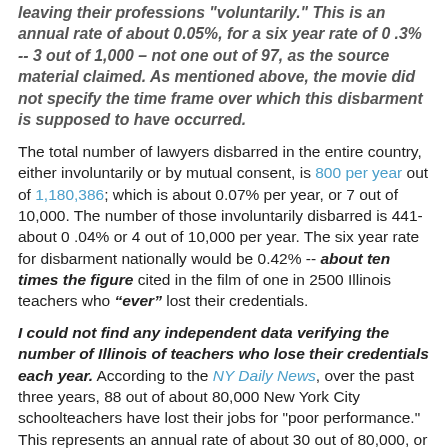leaving their professions "voluntarily." This is an annual rate of about 0.05%, for a six year rate of 0 .3% -- 3 out of 1,000 – not one out of 97, as the source material claimed. As mentioned above, the movie did not specify the time frame over which this disbarment is supposed to have occurred.
The total number of lawyers disbarred in the entire country, either involuntarily or by mutual consent, is 800 per year out of 1,180,386; which is about 0.07% per year, or 7 out of 10,000. The number of those involuntarily disbarred is 441-about 0 .04% or 4 out of 10,000 per year. The six year rate for disbarment nationally would be 0.42% -- about ten times the figure cited in the film of one in 2500 Illinois teachers who "ever" lost their credentials.
I could not find any independent data verifying the number of Illinois of teachers who lose their credentials each year. According to the NY Daily News, over the past three years, 88 out of about 80,000 New York City schoolteachers have lost their jobs for "poor performance." This represents an annual rate of about 30 out of 80,000, or 0.03%, which is about the same rate as attorneys who are